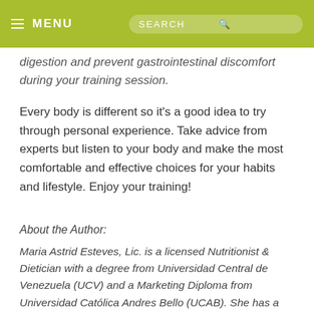≡ MENU   SEARCH 🔍
digestion and prevent gastrointestinal discomfort during your training session.
Every body is different so it's a good idea to try through personal experience. Take advice from experts but listen to your body and make the most comfortable and effective choices for your habits and lifestyle. Enjoy your training!
About the Author:
Maria Astrid Esteves, Lic. is a licensed Nutritionist & Dietician with a degree from Universidad Central de Venezuela (UCV) and a Marketing Diploma from Universidad Católica Andres Bello (UCAB). She has a Level 2 certification from the International Society for the Advancement of Kinanthropometry (ISAK) and is a project leader with the